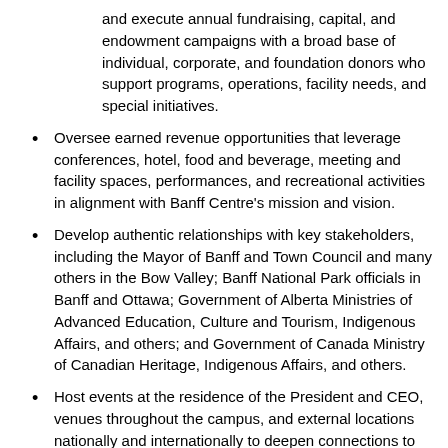and execute annual fundraising, capital, and endowment campaigns with a broad base of individual, corporate, and foundation donors who support programs, operations, facility needs, and special initiatives.
Oversee earned revenue opportunities that leverage conferences, hotel, food and beverage, meeting and facility spaces, performances, and recreational activities in alignment with Banff Centre's mission and vision.
Develop authentic relationships with key stakeholders, including the Mayor of Banff and Town Council and many others in the Bow Valley; Banff National Park officials in Banff and Ottawa; Government of Alberta Ministries of Advanced Education, Culture and Tourism, Indigenous Affairs, and others; and Government of Canada Ministry of Canadian Heritage, Indigenous Affairs, and others.
Host events at the residence of the President and CEO, venues throughout the campus, and external locations nationally and internationally to deepen connections to and solidify relationships in support of Banff Centre.
Embrace other revenue enhancement and government relations responsibilities, as needed.